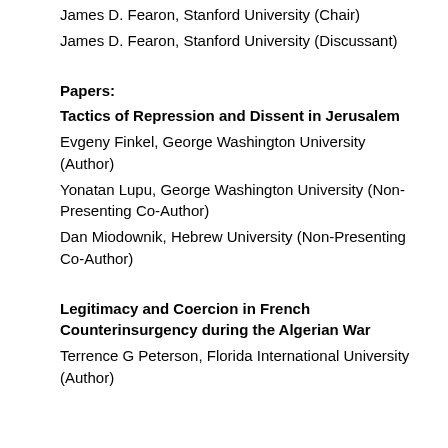James D. Fearon, Stanford University (Chair)
James D. Fearon, Stanford University (Discussant)
Papers:
Tactics of Repression and Dissent in Jerusalem
Evgeny Finkel, George Washington University (Author)
Yonatan Lupu, George Washington University (Non-Presenting Co-Author)
Dan Miodownik, Hebrew University (Non-Presenting Co-Author)
Legitimacy and Coercion in French Counterinsurgency during the Algerian War
Terrence G Peterson, Florida International University (Author)